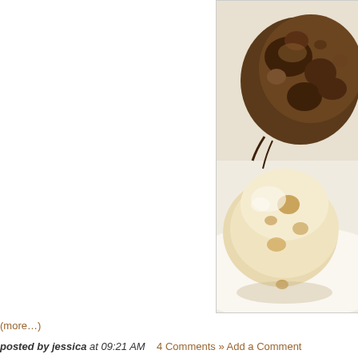[Figure (photo): Two root vegetables (celeriac/jicama) on a white surface — one dark brown and knobbly at the back, one pale cream/beige and smooth in the foreground]
(more…)
posted by jessica at 09:21 AM   4 Comments » Add a Comment